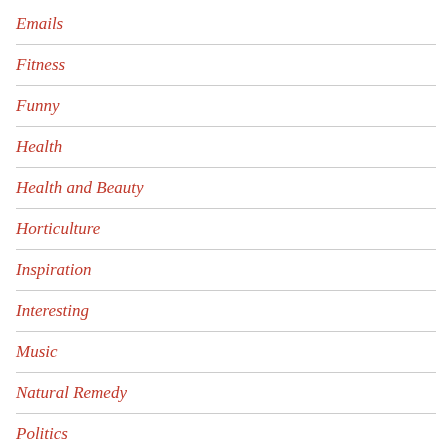Emails
Fitness
Funny
Health
Health and Beauty
Horticulture
Inspiration
Interesting
Music
Natural Remedy
Politics